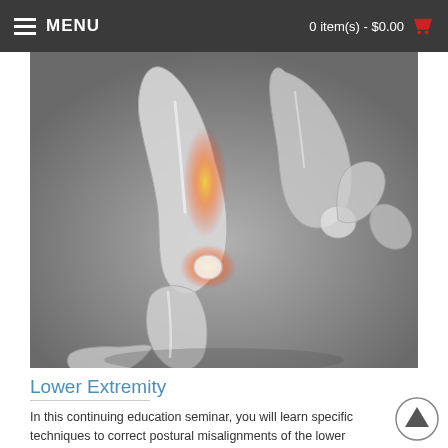MENU   0 item(s) - $0.00
[Figure (illustration): Medical illustration of human running legs with x-ray/skeletal view, highlighting the knee area in orange/yellow, showing bones and muscle structure on a grey gradient background.]
Lower Extremity
In this continuing education seminar, you will learn specific techniques to correct postural misalignments of the lower extremity including: Shin Splints Chondro-malacia Plantar Fasciitis and much, much more! Upon completion of this class